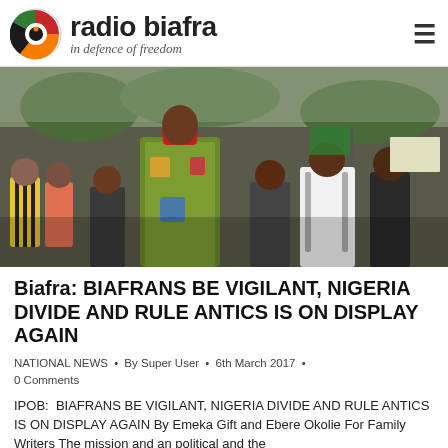radio biafra — in defence of freedom
[Figure (photo): Crowd of people marching/protesting outdoors, with a central figure wearing traditional colorful robes and a red cap, surrounded by supporters, some holding signs and flags.]
Biafra: BIAFRANS BE VIGILANT, NIGERIA DIVIDE AND RULE ANTICS IS ON DISPLAY AGAIN
NATIONAL NEWS • By Super User • 6th March 2017 • 0 Comments
IPOB: BIAFRANS BE VIGILANT, NIGERIA DIVIDE AND RULE ANTICS IS ON DISPLAY AGAIN By Emeka Gift and Ebere Okolie For Family Writers The mission and an political and the